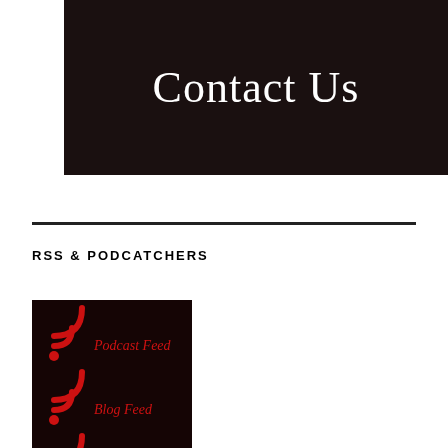Contact Us
RSS & PODCATCHERS
[Figure (illustration): Dark banner image with 'Contact Us' text in white serif font on black background]
[Figure (illustration): Black background box showing two RSS feed icons in red with labels 'Podcast Feed' and 'Blog Feed' in red italic serif text, and a partial third RSS icon at the bottom]